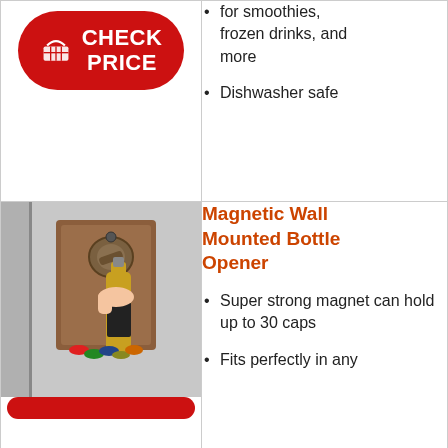[Figure (infographic): Red CHECK PRICE button with shopping basket icon]
for smoothies, frozen drinks, and more
Dishwasher safe
[Figure (photo): Magnetic wall mounted bottle opener on wooden plaque attached to refrigerator, with a hand opening a beer bottle and bottle caps collected below]
Magnetic Wall Mounted Bottle Opener
Super strong magnet can hold up to 30 caps
Fits perfectly in any